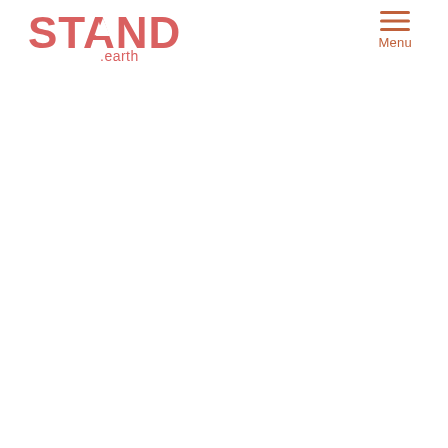[Figure (logo): Stand.earth logo in salmon/coral red color showing the word STAND in bold letters with a small triangle/mountain shape incorporated into the letter A, and '.earth' below in smaller text]
[Figure (other): Hamburger menu icon with three horizontal lines above the word 'Menu' in orange-brown color]